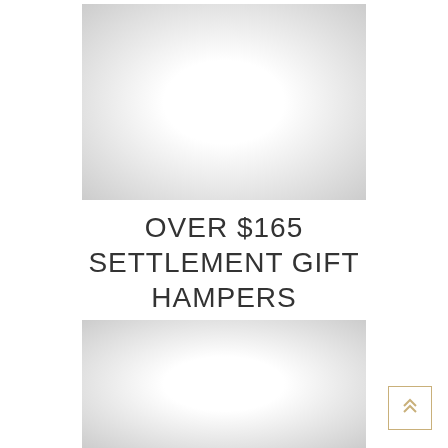[Figure (photo): Product image placeholder with white center fading to grey edges - top image]
OVER $165 SETTLEMENT GIFT HAMPERS
[Figure (photo): Product image placeholder with white center fading to grey edges - bottom image]